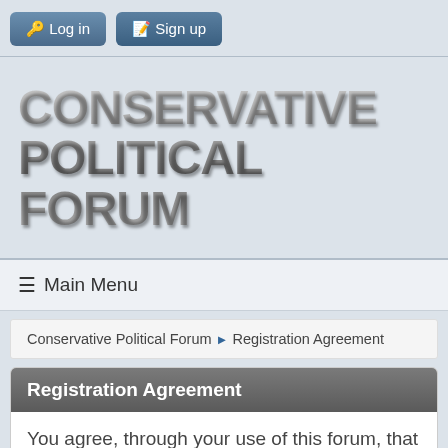Log in | Sign up
CONSERVATIVE POLITICAL FORUM
≡ Main Menu
Conservative Political Forum ► Registration Agreement
Registration Agreement
You agree, through your use of this forum, that you will not post any material which is false, defamatory, inaccurate, abusive, vulgar, hateful, harassing, obscene, profane, sexually oriented, threatening, invasive of a person's privacy, adult material, or otherwise in violation of any International or United